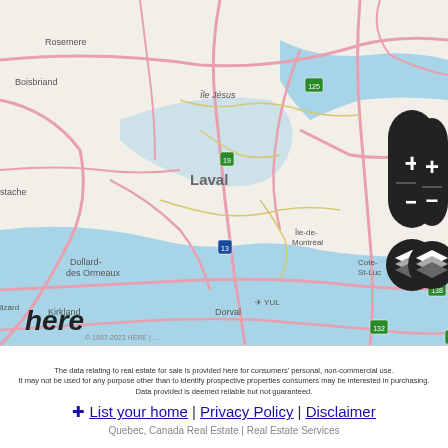[Figure (map): HERE map showing Montreal metropolitan area with surrounding regions including Laval, Longueuil, Boucherville, Brossard, La Prairie, Dollard-des Ormeaux, Dorval, Châteauguay, St-Constant, and other suburbs. Blue location pin marker on Montreal island. Map includes road network, highways, water bodies (St. Lawrence River, Lac St-Louis), zoom controls (+/-) and layer toggle button. Scale bar shows 10 km.]
The data relating to real estate for sale is provided here for consumers' personal, non-commercial use. It may not be used for any purpose other than to identify prospective properties consumers may be interested in purchasing. Data provided is deemed reliable but not guaranteed.
+ List your home | Privacy Policy | Disclaimer
Quebec, Canada Real Estate | Real Estate Services